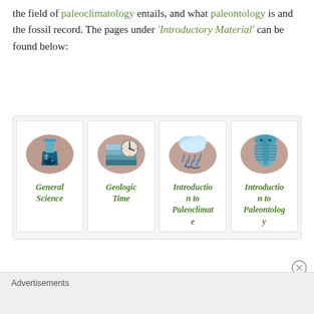the field of paleoclimatology entails, and what paleontology is and the fossil record. The pages under 'Introductory Material' can be found below:
[Figure (illustration): Four card-style icons: (1) General Science – chemistry flask illustration on brown background; (2) Geologic Time – layered rock strata with clock illustration; (3) Introduction to Paleoclimate – rain cloud illustration; (4) Introduction to Paleontology – trilobite fossil illustration. Each card has a bold italic green label below the image.]
Advertisements